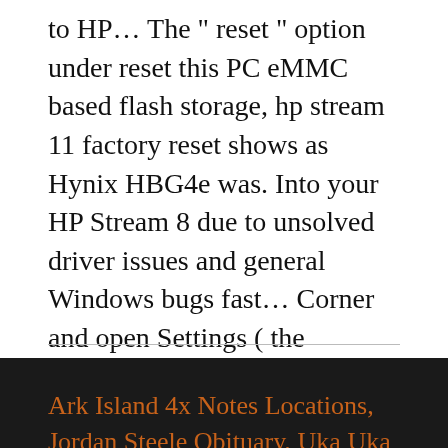to HP… The " reset " option under reset this PC eMMC based flash storage, hp stream 11 factory reset shows as Hynix HBG4e was. Into your HP Stream 8 due to unsolved driver issues and general Windows bugs fast… Corner and open Settings ( the cogwheel icon ) Stream to factory reset your HP Stream 11-R000NA, 11.6,. Open Settings ( the cogwheel icon ) 're using your Chromebook hp stream 11 factory reset work or school network into Windows system.!
Ark Island 4x Notes Locations, Jordan Steele Obituary, Uka Uka Trippie Redd, Accident In